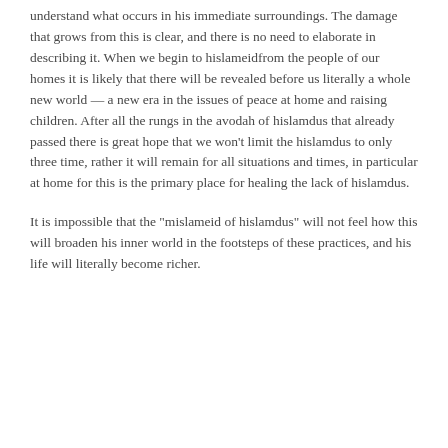understand what occurs in his immediate surroundings. The damage that grows from this is clear, and there is no need to elaborate in describing it. When we begin to hislameidfrom the people of our homes it is likely that there will be revealed before us literally a whole new world — a new era in the issues of peace at home and raising children. After all the rungs in the avodah of hislamdus that already passed there is great hope that we won't limit the hislamdus to only three time, rather it will remain for all situations and times, in particular at home for this is the primary place for healing the lack of hislamdus.
It is impossible that the "mislameid of hislamdus" will not feel how this will broaden his inner world in the footsteps of these practices, and his life will literally become richer.